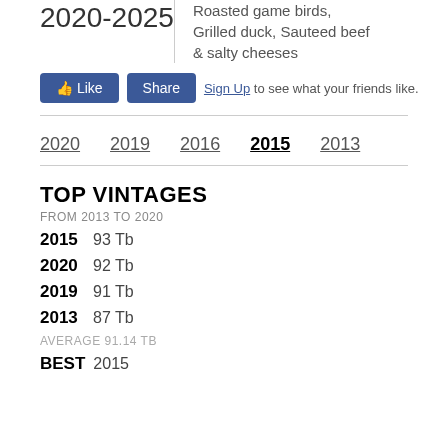2020-2025
Roasted game birds, Grilled duck, Sauteed beef & salty cheeses
[Figure (screenshot): Facebook Like and Share buttons with 'Sign Up to see what your friends like.' text]
2020
2019
2016
2015
2013
TOP VINTAGES
FROM 2013 TO 2020
2015  93 Tb
2020  92 Tb
2019  91 Tb
2013  87 Tb
AVERAGE 91.14 TB
BEST  2015